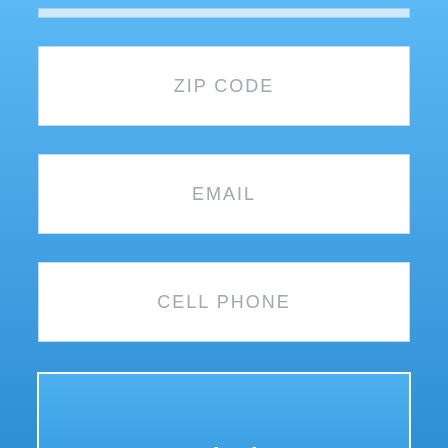ZIP CODE
EMAIL
CELL PHONE
Submit